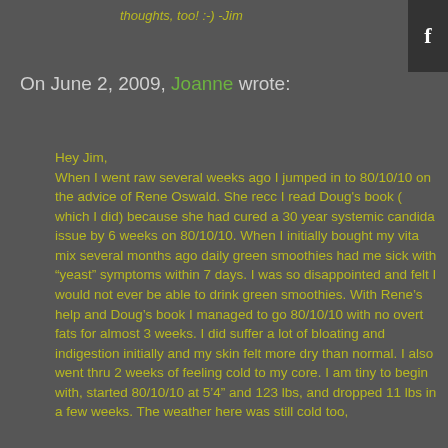thoughts, too! :-) -Jim
On June 2, 2009, Joanne wrote:
Hey Jim,
When I went raw several weeks ago I jumped in to 80/10/10 on the advice of Rene Oswald. She recc I read Doug's book ( which I did) because she had cured a 30 year systemic candida issue by 6 weeks on 80/10/10. When I initially bought my vita mix several months ago daily green smoothies had me sick with "yeast" symptoms within 7 days. I was so disappointed and felt I would not ever be able to drink green smoothies. With Rene's help and Doug's book I managed to go 80/10/10 with no overt fats for almost 3 weeks. I did suffer a lot of bloating and indigestion initially and my skin felt more dry than normal. I also went thru 2 weeks of feeling cold to my core. I am tiny to begin with, started 80/10/10 at 5'4" and 123 lbs, and dropped 11 lbs in a few weeks. The weather here was still cold too, which didn't help. Anyway, from 2 weeks to